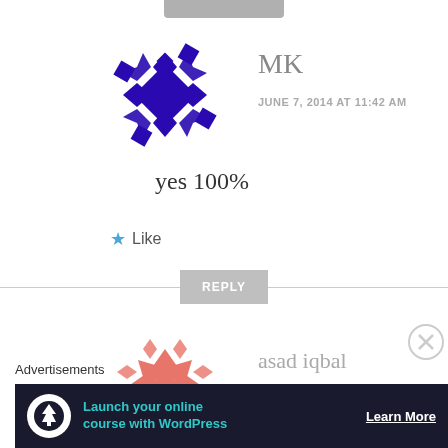[Figure (logo): Blue geometric snowflake/flower avatar for user MK]
MK
JUNE 7, 2014 AT 11:42 AM
yes 100%
★ Like
REPLY
[Figure (logo): Salmon/coral geometric flower avatar for user asad iqbal]
asad iqbal
JUNE 7, 2014 AT 12:28 PM
Advertisements
[Figure (infographic): Advertisement banner: Launch your online course with WordPress - Learn More]